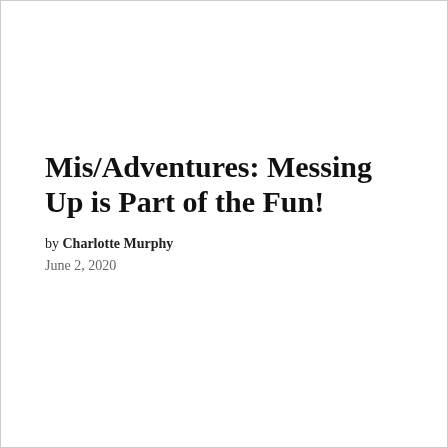Mis/Adventures: Messing Up is Part of the Fun!
by Charlotte Murphy
June 2, 2020